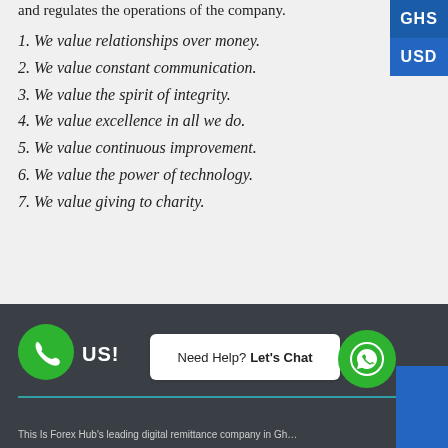and regulates the operations of the company.
1. We value relationships over money.
2. We value constant communication.
3. We value the spirit of integrity.
4. We value excellence in all we do.
5. We value continuous improvement.
6. We value the power of technology.
7. We value giving to charity.
CALL US! Need Help? Let's Chat | This Is Forex Hub's leading digital remittance company in Gh...